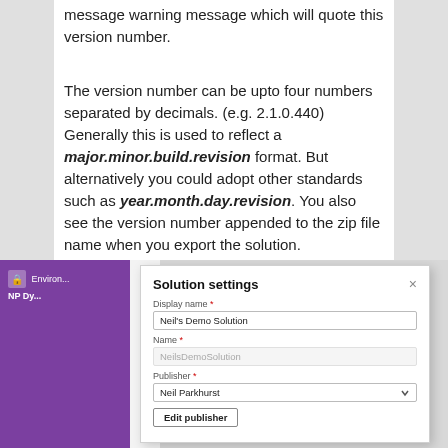message warning message which will quote this version number.
The version number can be upto four numbers separated by decimals. (e.g. 2.1.0.440) Generally this is used to reflect a major.minor.build.revision format. But alternatively you could adopt other standards such as year.month.day.revision. You also see the version number appended to the zip file name when you export the solution.
[Figure (screenshot): Screenshot of a 'Solution settings' dialog box. It shows fields for Display name (filled with "Neil's Demo Solution"), Name (filled with "NeilsDemoSolution" in gray/disabled), Publisher (dropdown showing "Neil Parkhurst"), and an 'Edit publisher' button. Behind the dialog is a purple panel labeled 'Environ... NP Dy...'.]